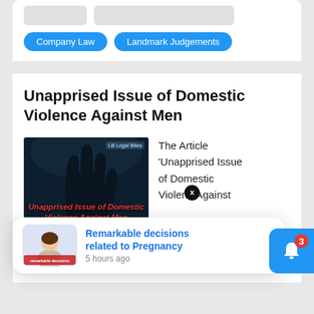Company Law
Landmark Judgements
Unapprised Issue of Domestic Violence Against Men
[Figure (illustration): Dark background photo showing a hand silhouette, with red italic bold text overlay reading 'Unapprised Issue of Domestic Violence Against Men' and a Legal Bites logo in top right corner.]
The Article 'Unapprised Issue of Domestic Violence Against Men' by Pallavi is a thorough analysis of the brutality faced by
[Figure (photo): Thumbnail image of a woman sitting on a floor, associated with notification popup for 'Remarkable decisions related to Pregnancy'.]
Remarkable decisions related to Pregnancy
5 hours ago